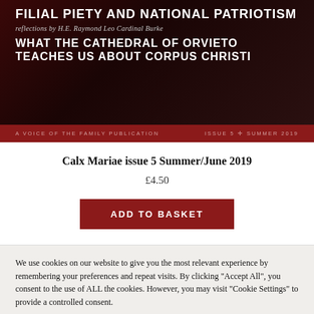[Figure (photo): Magazine cover with dark red background showing text: FILIAL PIETY AND NATIONAL PATRIOTISM, reflections by H.E. Raymond Leo Cardinal Burke, WHAT THE CATHEDRAL OF ORVIETO TEACHES US ABOUT CORPUS CHRISTI. Red banner below with: A VOICE OF THE FAMILY PUBLICATION | ISSUE 5 + SUMMER 2019]
Calx Mariae issue 5 Summer/June 2019
£4.50
ADD TO BASKET
We use cookies on our website to give you the most relevant experience by remembering your preferences and repeat visits. By clicking “Accept All”, you consent to the use of ALL the cookies. However, you may visit "Cookie Settings" to provide a controlled consent.
Cookie Settings | Accept All